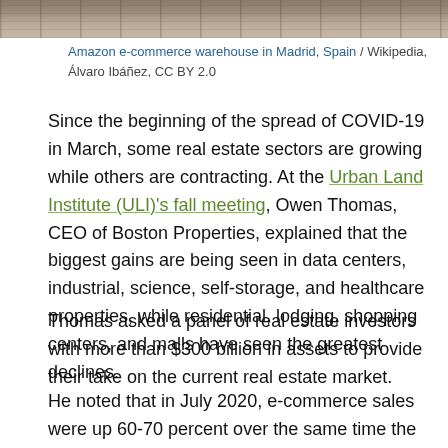[Figure (photo): Partial view of an Amazon e-commerce warehouse in Madrid, Spain showing cardboard boxes and shelving]
Amazon e-commerce warehouse in Madrid, Spain / Wikipedia, Álvaro Ibáñez, CC BY 2.0
Since the beginning of the spread of COVID-19 in March, some real estate sectors are growing while others are contracting. At the Urban Land Institute (ULI)'s fall meeting, Owen Thomas, CEO of Boston Properties, explained that the biggest gains are being seen in data centers, industrial, science, self-storage, and healthcare properties, while residential, lodging, shopping centers, and malls have seen the greatest declines.
Thomas asked a panel of real estate investors with more than $300 billion in assets to provide their take on the current real estate market.
He noted that in July 2020, e-commerce sales were up 60-70 percent over the same time the previous year.